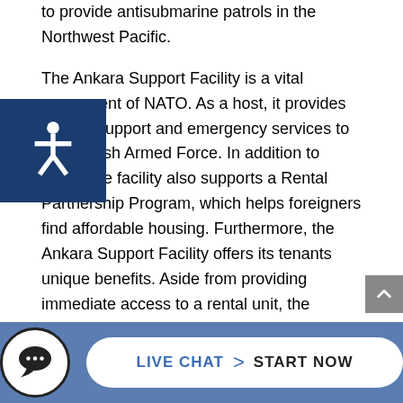to provide antisubmarine patrols in the Northwest Pacific.
The Ankara Support Facility is a vital component of NATO. As a [host], it provides military support and emergency services to [the T]urkish Armed Force. In addition to these, the facility also supports a Rental Partnership Program, which helps foreigners find affordable housing. Furthermore, the Ankara Support Facility offers its tenants unique benefits. Aside from providing immediate access to a rental unit, the organization also waives security deposits.
Relentless Turkey Civilian Military Defense Counsel
Since th[e US] closed the Ankara Air Station in the late 1970s,